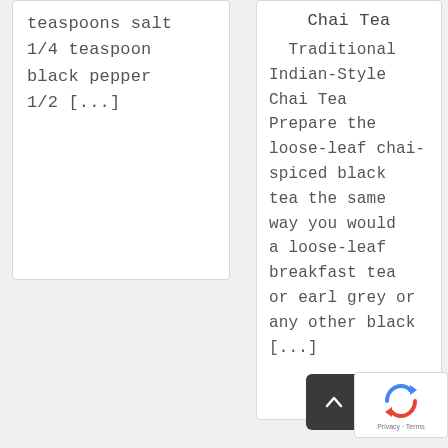teaspoons salt 1/4 teaspoon black pepper 1/2 [...]
Chai Tea
Traditional Indian-Style Chai Tea Prepare the loose-leaf chai-spiced black tea the same way you would a loose-leaf breakfast tea or earl grey or any other black [...]